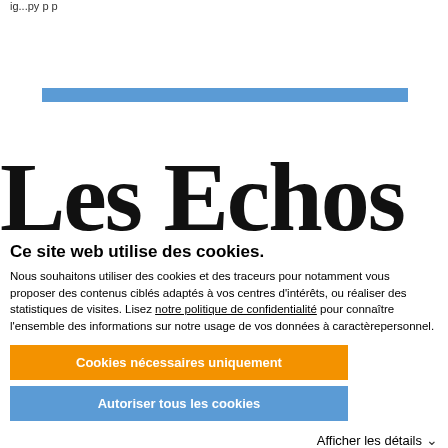...
[Figure (other): Blue horizontal progress/loading bar]
[Figure (logo): Les Echos newspaper logo in large bold serif font]
Ce site web utilise des cookies.
Nous souhaitons utiliser des cookies et des traceurs pour notamment vous proposer des contenus ciblés adaptés à vos centres d'intérêts, ou réaliser des statistiques de visites. Lisez notre politique de confidentialité pour connaître l'ensemble des informations sur notre usage de vos données à caractèrepersonnel.
Cookies nécessaires uniquement
Autoriser tous les cookies
Afficher les détails